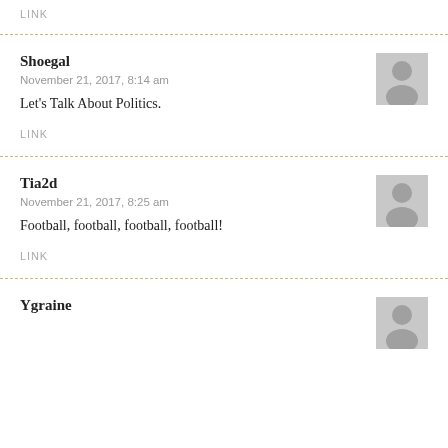LINK
Shoegal
November 21, 2017, 8:14 am
Let’s Talk About Politics.
LINK
Tia2d
November 21, 2017, 8:25 am
Football, football, football, football!
LINK
Ygraine